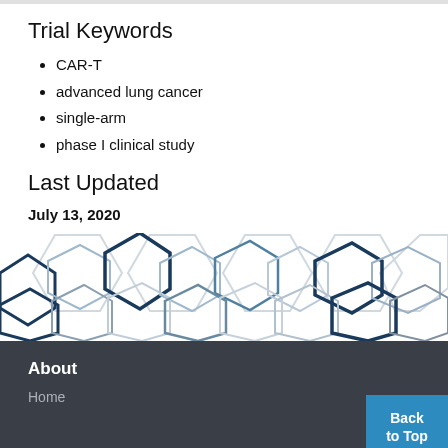Trial Keywords
CAR-T
advanced lung cancer
single-arm
phase I clinical study
Last Updated
July 13, 2020
[Figure (illustration): Decorative hexagon pattern banner with blue and light gray hexagons of varying sizes arranged in overlapping rows]
About  Home  Back to Top